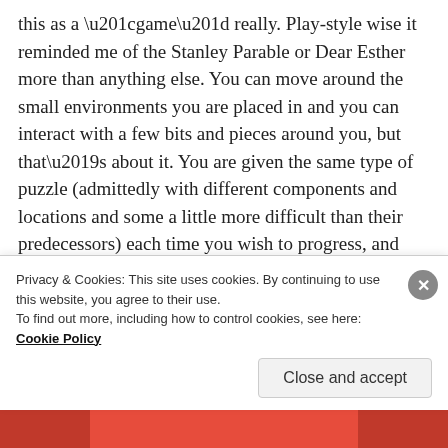this as a “game” really. Play-style wise it reminded me of the Stanley Parable or Dear Esther more than anything else. You can move around the small environments you are placed in and you can interact with a few bits and pieces around you, but that’s about it. You are given the same type of puzzle (admittedly with different components and locations and some a little more difficult than their predecessors) each time you wish to progress, and really every single one is really easy and doesn’t really take much thought. As a game, you move around an area, solve the small puzzle and then
Privacy & Cookies: This site uses cookies. By continuing to use this website, you agree to their use.
To find out more, including how to control cookies, see here: Cookie Policy
Close and accept